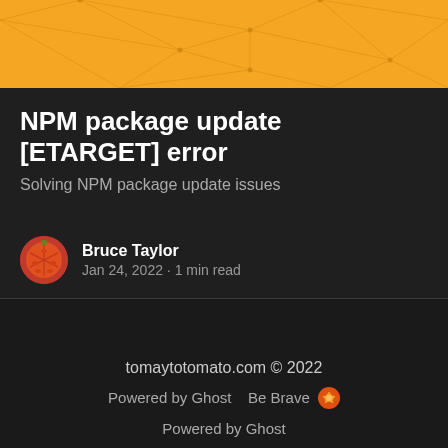[Figure (illustration): Orange banner with geometric polygon/triangulation pattern in darker orange lines on a bright orange background]
NPM package update [ETARGET] error
Solving NPM package update issues
[Figure (illustration): Circular avatar icon with orange/red tomato logo for Bruce Taylor]
Bruce Taylor
Jan 24, 2022 • 1 min read
tomaytotomato.com © 2022
Powered by Ghost    Be Brave 🦁
Powered by Ghost